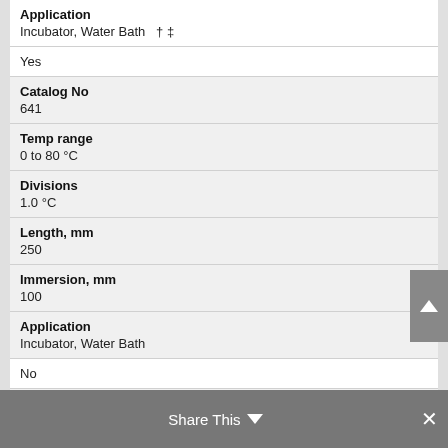| Application | Incubator, Water Bath † ‡ |
|  | Yes |
| Catalog No | 641 |
| Temp range | 0 to 80 °C |
| Divisions | 1.0 °C |
| Length, mm | 250 |
| Immersion, mm | 100 |
| Application | Incubator, Water Bath |
|  | No |
| Catalog No | 641SC |
Share This ∨  ✕